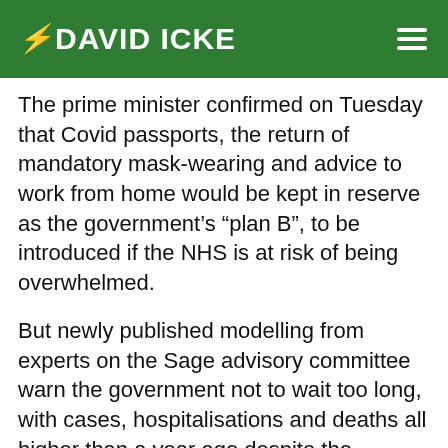DAVID ICKE
The prime minister confirmed on Tuesday that Covid passports, the return of mandatory mask-wearing and advice to work from home would be kept in reserve as the government's “plan B”, to be introduced if the NHS is at risk of being overwhelmed.
But newly published modelling from experts on the Sage advisory committee warn the government not to wait too long, with cases, hospitalisations and deaths all higher than a year ago despite the success of the vaccination programme.